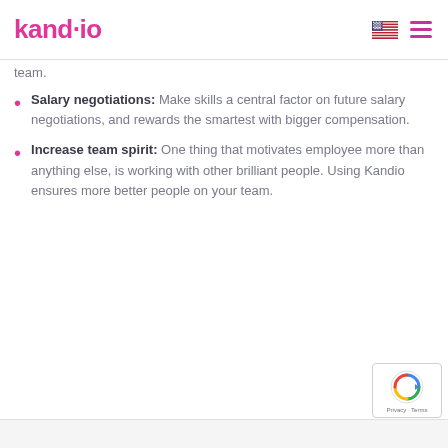kand·io
team.
Salary negotiations: Make skills a central factor on future salary negotiations, and rewards the smartest with bigger compensation.
Increase team spirit: One thing that motivates employee more than anything else, is working with other brilliant people. Using Kandio ensures more better people on your team.